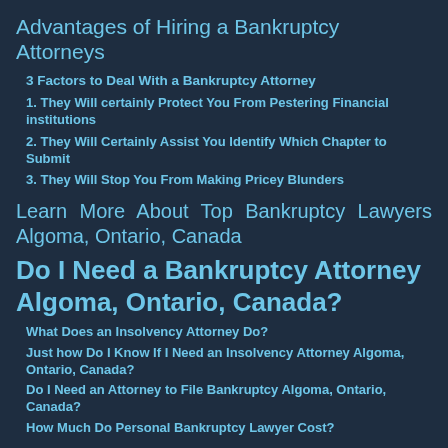Advantages of Hiring a Bankruptcy Attorneys
3 Factors to Deal With a Bankruptcy Attorney
1. They Will certainly Protect You From Pestering Financial institutions
2. They Will Certainly Assist You Identify Which Chapter to Submit
3. They Will Stop You From Making Pricey Blunders
Learn More About Top Bankruptcy Lawyers Algoma, Ontario, Canada
Do I Need a Bankruptcy Attorney Algoma, Ontario, Canada?
What Does an Insolvency Attorney Do?
Just how Do I Know If I Need an Insolvency Attorney Algoma, Ontario, Canada?
Do I Need an Attorney to File Bankruptcy Algoma, Ontario, Canada?
How Much Do Personal Bankruptcy Lawyer Cost?